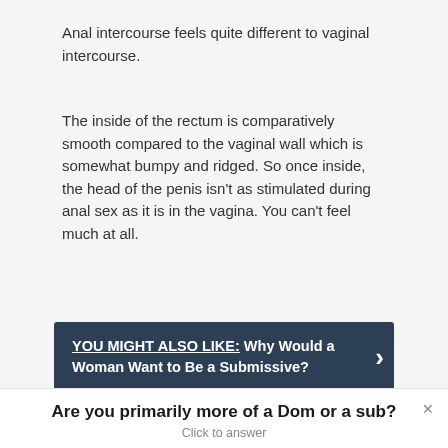Anal intercourse feels quite different to vaginal intercourse.
The inside of the rectum is comparatively smooth compared to the vaginal wall which is somewhat bumpy and ridged. So once inside, the head of the penis isn't as stimulated during anal sex as it is in the vagina. You can't feel much at all.
YOU MIGHT ALSO LIKE: Why Would a Woman Want to Be a Submissive?
Also, the vagina tends to wrap tighter around the
Are you primarily more of a Dom or a sub? Click to answer